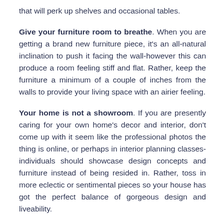that will perk up shelves and occasional tables.
Give your furniture room to breathe. When you are getting a brand new furniture piece, it's an all-natural inclination to push it facing the wall-however this can produce a room feeling stiff and flat. Rather, keep the furniture a minimum of a couple of inches from the walls to provide your living space with an airier feeling.
Your home is not a showroom. If you are presently caring for your own home's decor and interior, don't come up with it seem like the professional photos the thing is online, or perhaps in interior planning classes- individuals should showcase design concepts and furniture instead of being resided in. Rather, toss in more eclectic or sentimental pieces so your house has got the perfect balance of gorgeous design and liveability.